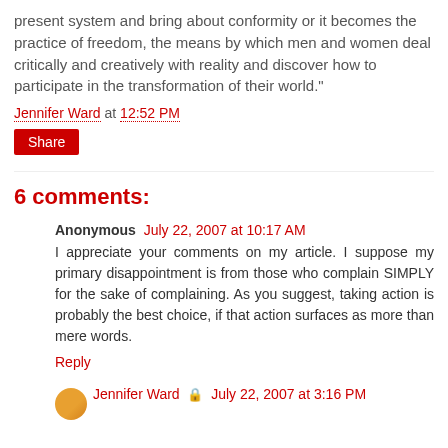present system and bring about conformity or it becomes the practice of freedom, the means by which men and women deal critically and creatively with reality and discover how to participate in the transformation of their world."
Jennifer Ward at 12:52 PM
Share
6 comments:
Anonymous  July 22, 2007 at 10:17 AM
I appreciate your comments on my article. I suppose my primary disappointment is from those who complain SIMPLY for the sake of complaining. As you suggest, taking action is probably the best choice, if that action surfaces as more than mere words.
Reply
Jennifer Ward  July 22, 2007 at 3:16 PM